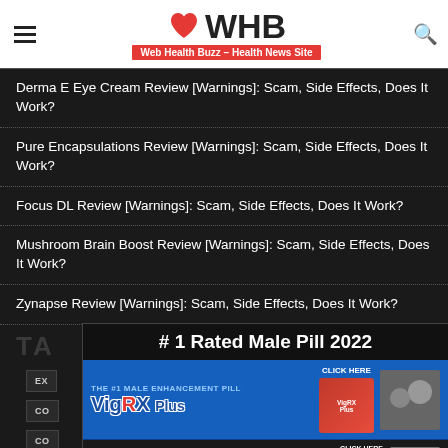WHB - Web Health Buzz - Health News Site
Derma E Eye Cream Review [Warnings]: Scam, Side Effects, Does It Work?
Pure Encapsulations Review [Warnings]: Scam, Side Effects, Does It Work?
Focus DL Review [Warnings]: Scam, Side Effects, Does It Work?
Mushroom Brain Boost Review [Warnings]: Scam, Side Effects, Does It Work?
Zynapse Review [Warnings]: Scam, Side Effects, Does It Work?
TAGS
[Figure (infographic): VigRX Plus male enhancement advertisement banner with title '# 1 Rated Male Pill 2022', product images, and 'Click Here to Read More' button]
DIGESTZEN CONS
DIGESTZEN COST
DIGESTZEN COUPON